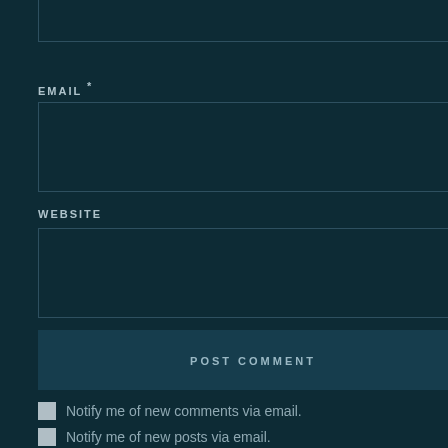EMAIL *
WEBSITE
POST COMMENT
Notify me of new comments via email.
Notify me of new posts via email.